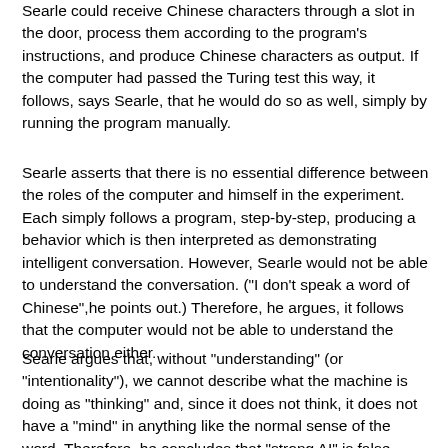Searle could receive Chinese characters through a slot in the door, process them according to the program's instructions, and produce Chinese characters as output. If the computer had passed the Turing test this way, it follows, says Searle, that he would do so as well, simply by running the program manually.
Searle asserts that there is no essential difference between the roles of the computer and himself in the experiment. Each simply follows a program, step-by-step, producing a behavior which is then interpreted as demonstrating intelligent conversation. However, Searle would not be able to understand the conversation. ("I don't speak a word of Chinese",he points out.) Therefore, he argues, it follows that the computer would not be able to understand the conversation either.
Searle argues that, without "understanding" (or "intentionality"), we cannot describe what the machine is doing as "thinking" and, since it does not think, it does not have a "mind" in anything like the normal sense of the word. Therefore, he concludes that "strong AI" is false.